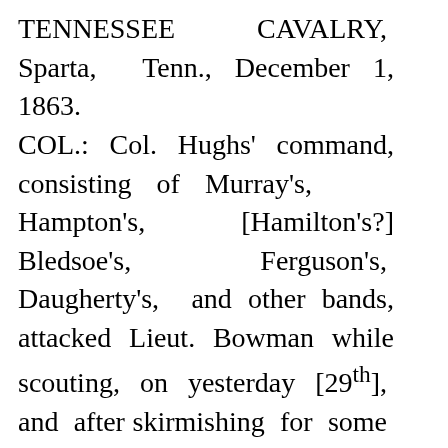TENNESSEE CAVALRY, Sparta, Tenn., December 1, 1863. COL.: Col. Hughs' command, consisting of Murray's, Hampton's, [Hamilton's?] Bledsoe's, Ferguson's, Daugherty's, and other bands, attacked Lieut. Bowman while scouting, on yesterday [29th], and after skirmishing for some time, drove him across the river within 2 miles of this place, killing 4, wounding 1, and capturing 5. I went immediately to his assistance, and drove the enemy (numbering 500) 8 miles, killing 9, and wounding between 15 and 20. I would take no prisoners. One of the Ninth Pennsylvania was mortally wounded (died